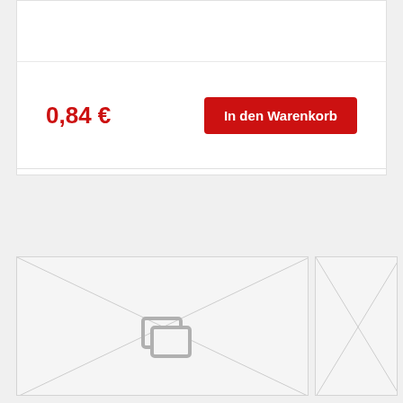0,84 €
In den Warenkorb
[Figure (photo): Product image placeholder showing envelope with diagonal cross lines and two overlapping image placeholder icons in gray]